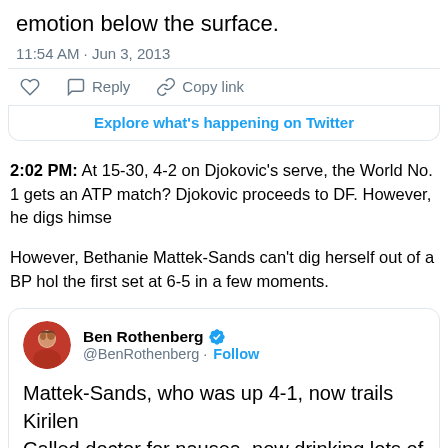emotion below the surface.
11:54 AM · Jun 3, 2013
Reply   Copy link
Explore what's happening on Twitter
2:02 PM: At 15-30, 4-2 on Djokovic's serve, the World No. 1 gets an ATP match? Djokovic proceeds to DF. However, he digs himse...
However, Bethanie Mattek-Sands can't dig herself out of a BP hol the first set at 6-5 in a few moments.
[Figure (screenshot): Embedded tweet from Ben Rothenberg (@BenRothenberg) with verified badge and Follow button. Tweet text: Mattek-Sands, who was up 4-1, now trails Kirilen... Called doctor for nausea, now drinking lots of wa... Timestamp: 12:06 PM · Jun 3, 2013]
Ben Rothenberg @BenRothenberg · Follow
Mattek-Sands, who was up 4-1, now trails Kirilen... Called doctor for nausea, now drinking lots of wa...
12:06 PM · Jun 3, 2013